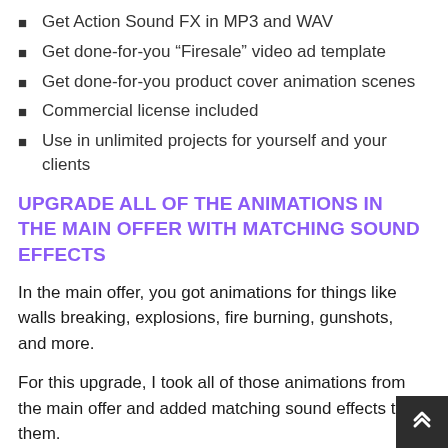Get Action Sound FX in MP3 and WAV
Get done-for-you “Firesale” video ad template
Get done-for-you product cover animation scenes
Commercial license included
Use in unlimited projects for yourself and your clients
UPGRADE ALL OF THE ANIMATIONS IN THE MAIN OFFER WITH MATCHING SOUND EFFECTS
In the main offer, you got animations for things like walls breaking, explosions, fire burning, gunshots, and more.
For this upgrade, I took all of those animations from the main offer and added matching sound effects to them.
These sound effects bring the animations to life and